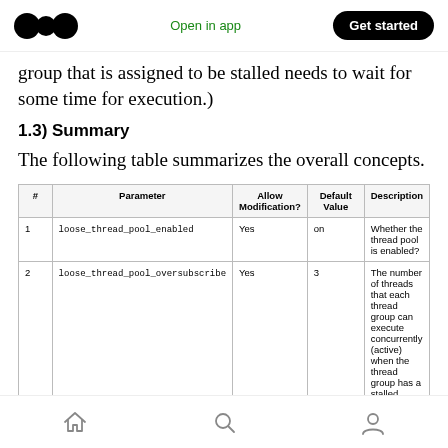Open in app | Get started
group that is assigned to be stalled needs to wait for some time for execution.)
1.3) Summary
The following table summarizes the overall concepts.
| # | Parameter | Allow Modification? | Default Value | Description |
| --- | --- | --- | --- | --- |
| 1 | loose_thread_pool_enabled | Yes | on | Whether the thread pool is enabled? |
| 2 | loose_thread_pool_oversubscribe | Yes | 3 | The number of threads that each thread group can execute concurrently (active) when the thread group has a stalled thread. The maximum number of threads that can be concurrently executed (active) in a thread pool. |
Home | Search | Profile